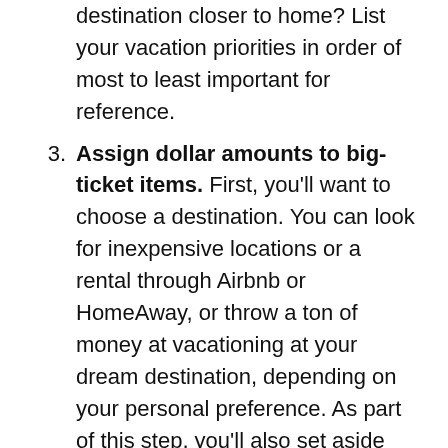destination closer to home? List your vacation priorities in order of most to least important for reference.
3. Assign dollar amounts to big-ticket items. First, you'll want to choose a destination. You can look for inexpensive locations or a rental through Airbnb or HomeAway, or throw a ton of money at vacationing at your dream destination, depending on your personal preference. As part of this step, you'll also set aside money for transportation to your destination, as well as accommodations.
4. Divide and conquer. You should now have your remaining budget, along with a list of the remaining vacation priorities you haven't yet covered. Simply assign a